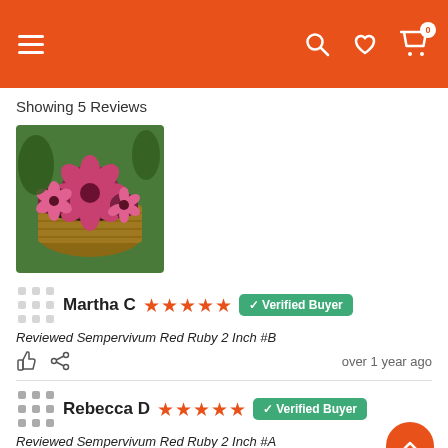Navigation header with menu, search, heart, and cart (0) icons
Showing 5 Reviews
[Figure (photo): Photo of Sempervivum Red Ruby succulent plants in a wicker basket pot, showing red and pink rosettes with dark soil]
Martha C ★★★★★ ✓ Verified Buyer
Reviewed Sempervivum Red Ruby 2 Inch #B
over 1 year ago
Rebecca D ★★★★★ ✓ Verified Buyer
Reviewed Sempervivum Red Ruby 2 Inch #A
Arrived in great condition and quickly!  Just hoping I don't kill